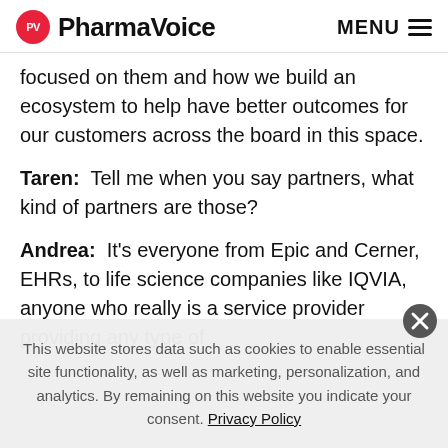PharmaVoice  MENU
focused on them and how we build an ecosystem to help have better outcomes for our customers across the board in this space.
Taren:  Tell me when you say partners, what kind of partners are those?
Andrea:  It's everyone from Epic and Cerner, EHRs, to life science companies like IQVIA, anyone who really is a service provider providing any type of
This website stores data such as cookies to enable essential site functionality, as well as marketing, personalization, and analytics. By remaining on this website you indicate your consent. Privacy Policy